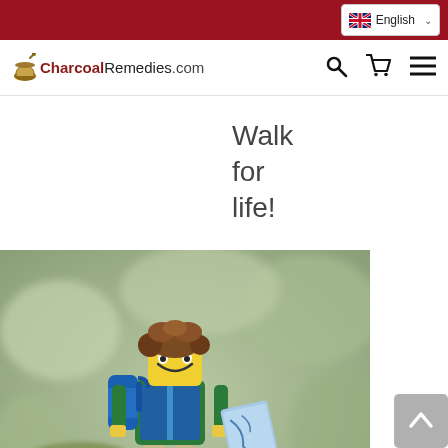English (language selector)
CharcoalRemedies.com — navigation bar with search, cart, and menu icons
Walk for life!
[Figure (photo): A LEGO minifigure dressed as a hiker with a green and blue jacket, brown curly hair, and a backpack, holding a blue map, standing on a mossy ground with a blurred natural background.]